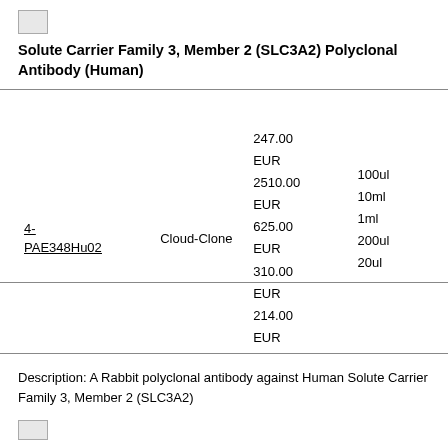[Figure (logo): Company logo placeholder image (broken image icon)]
Solute Carrier Family 3, Member 2 (SLC3A2) Polyclonal Antibody (Human)
| ID | Supplier | Price | Size |
| --- | --- | --- | --- |
| 4-PAE348Hu02 | Cloud-Clone | 247.00 EUR
2510.00 EUR
625.00 EUR
310.00 EUR
214.00 EUR | 100ul
10ml
1ml
200ul
20ul |
Description: A Rabbit polyclonal antibody against Human Solute Carrier Family 3, Member 2 (SLC3A2)
[Figure (logo): Company logo placeholder image (broken image icon) at bottom]